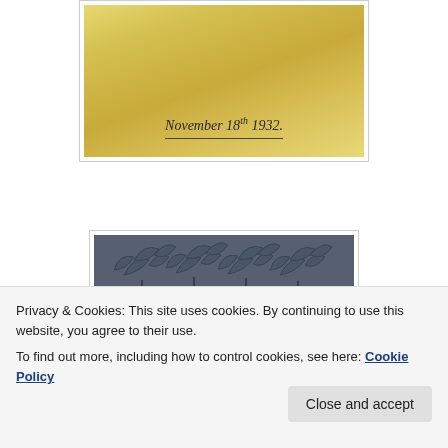[Figure (photo): Yellowed photograph showing handwritten text 'November 18th 1932.' with a horizontal underline beneath it]
[Figure (photo): Dark blue-grey book cover with Art Nouveau style leaf/tree decoration on upper portion and four vertical spine-like columns below]
Privacy & Cookies: This site uses cookies. By continuing to use this website, you agree to their use.
To find out more, including how to control cookies, see here: Cookie Policy
Close and accept
|  | influenced by art |  |